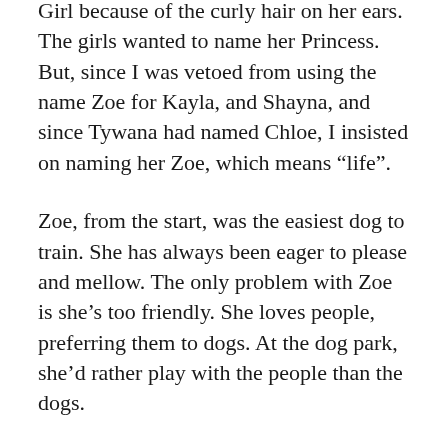Girl because of the curly hair on her ears. The girls wanted to name her Princess. But, since I was vetoed from using the name Zoe for Kayla, and Shayna, and since Tywana had named Chloe, I insisted on naming her Zoe, which means “life”.
Zoe, from the start, was the easiest dog to train. She has always been eager to please and mellow. The only problem with Zoe is she’s too friendly. She loves people, preferring them to dogs. At the dog park, she’d rather play with the people than the dogs.
Zoe was never much for chasing frisbees or balls. She never liked toys. Stevie brought toys back into the house after Chloe passed. Zoe ignored Stevie’s toys. Zoe just wants to lay at our feet.
Six years ago, when Zoe was nine years old, we got Stevie. Zoe was nine and a big dog. I didn’t anticipate she would be with us for very much longer. The girls